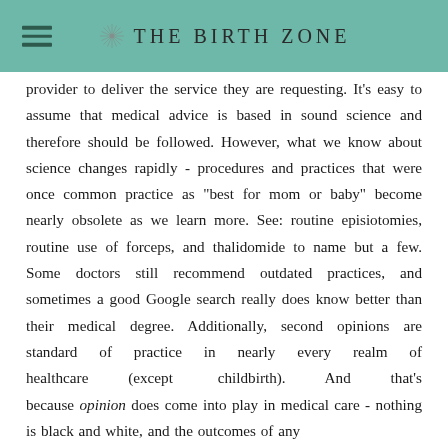THE BIRTH ZONE
provider to deliver the service they are requesting. It's easy to assume that medical advice is based in sound science and therefore should be followed. However, what we know about science changes rapidly - procedures and practices that were once common practice as "best for mom or baby" become nearly obsolete as we learn more. See: routine episiotomies, routine use of forceps, and thalidomide to name but a few. Some doctors still recommend outdated practices, and sometimes a good Google search really does know better than their medical degree. Additionally, second opinions are standard of practice in nearly every realm of healthcare (except childbirth). And that's because opinion does come into play in medical care - nothing is black and white, and the outcomes of any